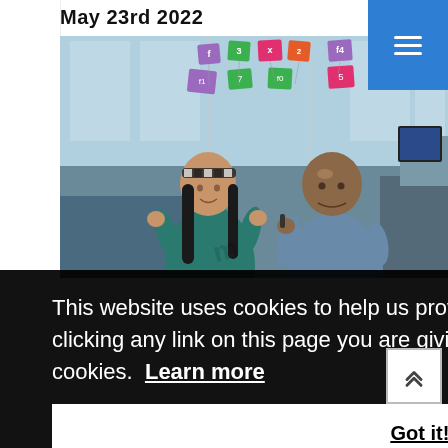May 23rd 2022
[Figure (photo): Two people in an office discussing in front of a glass wall with colorful sticky notes (pink, green, purple, yellow) with letters/numbers on them. A woman with long dark hair wearing a striped headband and teal outfit gestures with her hands. A bald man in a blue-grey shirt holds something while listening.]
This website uses cookies to help us provide you a better experience. By clicking any link on this page you are giving your consent for us to set cookies.  Learn more
Got it!
CS: Design & Product,